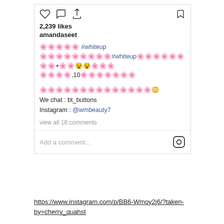[Figure (screenshot): Instagram post action icons: heart, comment bubble, share arrow (left); bookmark (right)]
2,239 likes
amandaseet
🌸🌸🌸🌸🌸 #whiteup
🌸🌸🌸🌸🌸🌸🌸🌸🌸#whiteup🌸🌸🌸🌸🌸🌸
🌸🌸+🌸🌸😵😵🌸🌸🌸
🌸🌸🌸🌸,10🌸🌸🌸🌸🌸🌸🌸
🌸🌸🌸🌸🌸🌸🌸🌸🌸🌸🌸🌸🌸🌸😳
We chat : bt_buttons
Instagram : @wmbeauty7
view all 18 comments
Add a comment...
https://www.instagram.com/p/BB6-Wmoy2j6/?taken-by=cherry_quahst